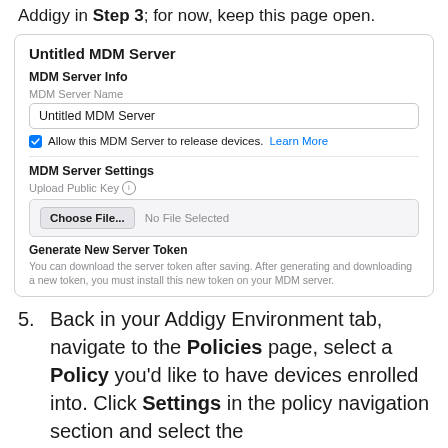Addigy in Step 3; for now, keep this page open.
[Figure (screenshot): Apple Business Manager MDM Server configuration screen showing 'Untitled MDM Server' card with MDM Server Info section (MDM Server Name field containing 'Untitled MDM Server', checkbox for 'Allow this MDM Server to release devices. Learn More'), MDM Server Settings section with Upload Public Key file input (Choose File... No File Selected), and Generate New Server Token section with description text.]
5. Back in your Addigy Environment tab, navigate to the Policies page, select a Policy you'd like to have devices enrolled into. Click Settings in the policy navigation section and select the